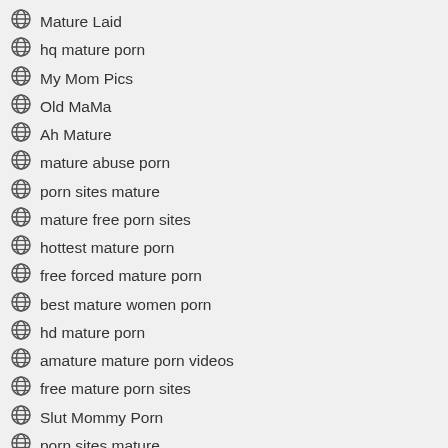Mature Laid
hq mature porn
My Mom Pics
Old MaMa
Ah Mature
mature abuse porn
porn sites mature
mature free porn sites
hottest mature porn
free forced mature porn
best mature women porn
hd mature porn
amature mature porn videos
free mature porn sites
Slut Mommy Porn
porn sites mature